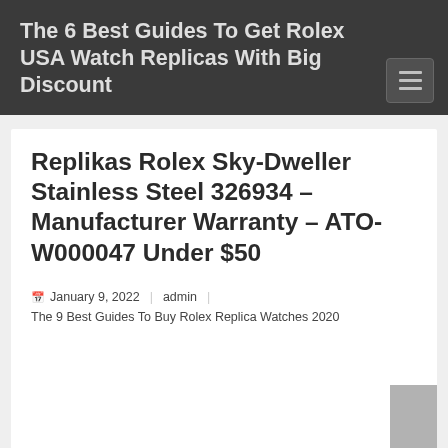The 6 Best Guides To Get Rolex USA Watch Replicas With Big Discount
Replikas Rolex Sky-Dweller Stainless Steel 326934 – Manufacturer Warranty – ATO-W000047 Under $50
January 9, 2022  admin  The 9 Best Guides To Buy Rolex Replica Watches 2020